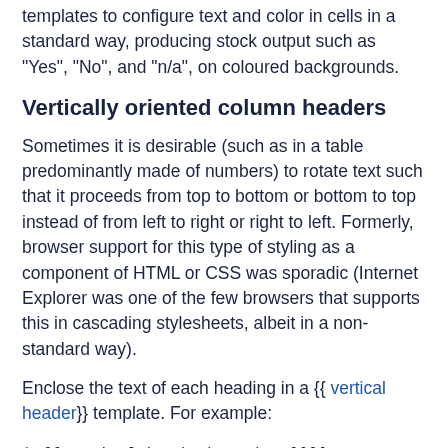templates to configure text and color in cells in a standard way, producing stock output such as "Yes", "No", and "n/a", on coloured backgrounds.
Vertically oriented column headers
Sometimes it is desirable (such as in a table predominantly made of numbers) to rotate text such that it proceeds from top to bottom or bottom to top instead of from left to right or right to left. Formerly, browser support for this type of styling as a component of HTML or CSS was sporadic (Internet Explorer was one of the few browsers that supports this in cascading stylesheets, albeit in a non-standard way).
Enclose the text of each heading in a {{ vertical header}} template. For example:
| {{vertical header|Date|Row}}}}